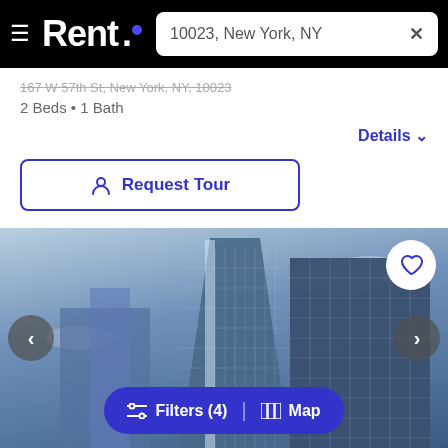Rent. | 10023, New York, NY
167 W 57th St, New York, NY, 10023
2 Beds • 1 Bath
Details
Request Tour
[Figure (photo): Exterior photo of a modern glass skyscraper shot from below against a blue sky with clouds, with navigation arrows on left and right sides and a heart/favorite button in the top right corner]
Filters (4) | Map